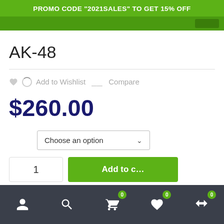PROMO CODE "2021SALES" TO GET 15% OFF
AK-48
Add to Wishlist   Compare
$260.00
Choose an option
1
0  0  0